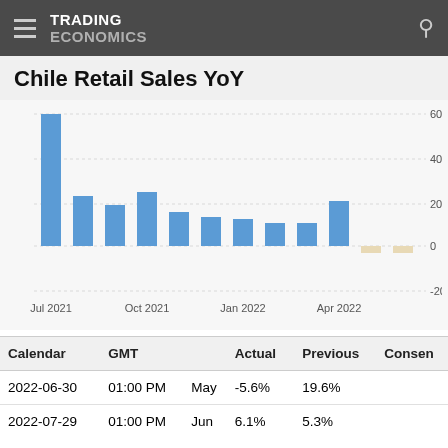TRADING ECONOMICS
Chile Retail Sales YoY
[Figure (bar-chart): Chile Retail Sales YoY]
| Calendar | GMT |  | Actual | Previous | Consen |
| --- | --- | --- | --- | --- | --- |
| 2022-06-30 | 01:00 PM | May | -5.6% | 19.6% |  |
| 2022-07-29 | 01:00 PM | Jun | 6.1% | 5.3% |  |